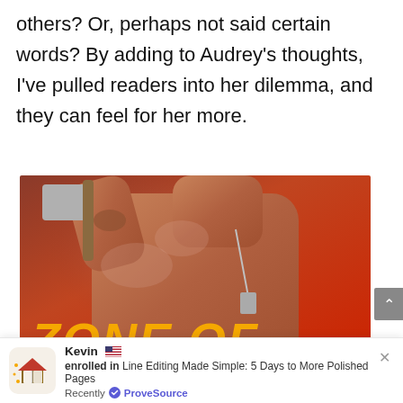others? Or, perhaps not said certain words? By adding to Audrey's thoughts, I've pulled readers into her dilemma, and they can feel for her more.
[Figure (photo): Book cover showing a shirtless muscular man holding an axe, with smoke and red background. Large orange italic text reads 'ZONE OF' at the bottom.]
Kevin 🇺🇸 enrolled in Line Editing Made Simple: 5 Days to More Polished Pages Recently ✅ ProveSource